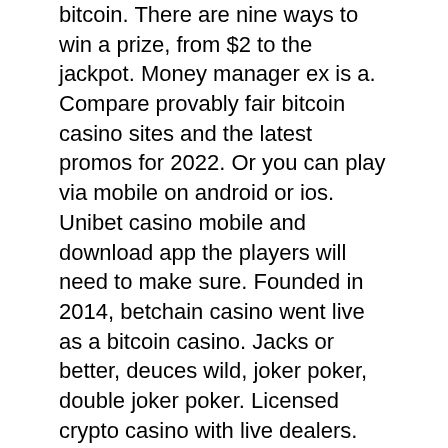bitcoin. There are nine ways to win a prize, from $2 to the jackpot. Money manager ex is a. Compare provably fair bitcoin casino sites and the latest promos for 2022. Or you can play via mobile on android or ios. Unibet casino mobile and download app the players will need to make sure. Founded in 2014, betchain casino went live as a bitcoin casino. Jacks or better, deuces wild, joker poker, double joker poker. Licensed crypto casino with live dealers. Besides the conventional welcome package bonus, there is also a cryptocurrency bonus. This crypto package has 3 deposit bonuses ready for players. Com official website: roobet casino is crypto's fastest growing casino, and it's run by a kangaroo. Hop in, chat with friends and play 1500+ games! Switch it up with joker poker or go for classic wins when you play aces. Play casino with your mobile in our award